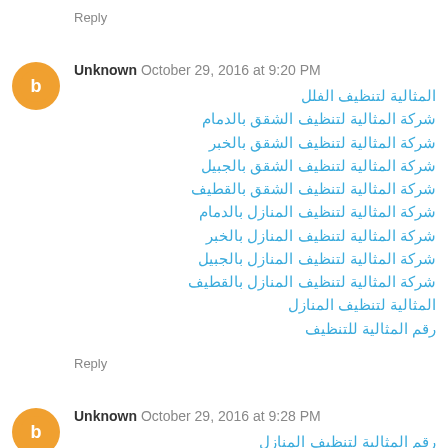Reply
Unknown October 29, 2016 at 9:20 PM
المثالية لتنظيف الفلل
شركة المثالية لتنظيف الشقق بالدمام
شركة المثالية لتنظيف الشقق بالخبر
شركة المثالية لتنظيف الشقق بالجبيل
شركة المثالية لتنظيف الشقق بالقطيف
شركة المثالية لتنظيف المنازل بالدمام
شركة المثالية لتنظيف المنازل بالخبر
شركة المثالية لتنظيف المنازل بالجبيل
شركة المثالية لتنظيف المنازل بالقطيف
المثالية لتنظيف المنازل
رقم المثالية للتنظيف
Reply
Unknown October 29, 2016 at 9:28 PM
رقم المثالية لتنظيف المنازل
شركة المثالية للتنظيف